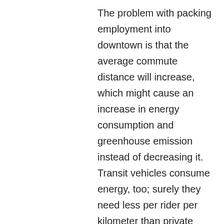The problem with packing employment into downtown is that the average commute distance will increase, which might cause an increase in energy consumption and greenhouse emission instead of decreasing it. Transit vehicles consume energy, too; surely they need less per rider per kilometer than private cars, but if they have to travel much longer, they might consume more overall.
Rather than encouraging office growth in downtown, we should try to forecast the growth that will occur there naturally, and support it with adequate increase in the transit capacity. Currently, the downtown lines are amongst the most packed on the system. What needs to be encouraged is condo construction in the core...